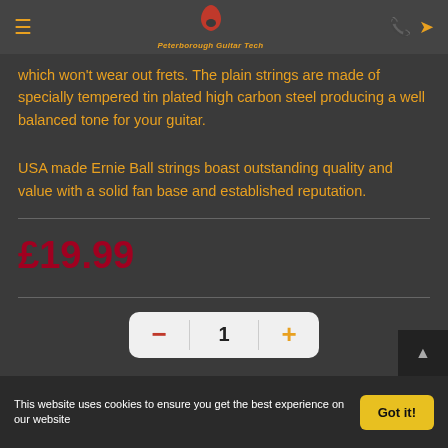Peterborough Guitar Tech
which won't wear out frets. The plain strings are made of specially tempered tin plated high carbon steel producing a well balanced tone for your guitar.
USA made Ernie Ball strings boast outstanding quality and value with a solid fan base and established reputation.
£19.99
1
This website uses cookies to ensure you get the best experience on our website
Got it!